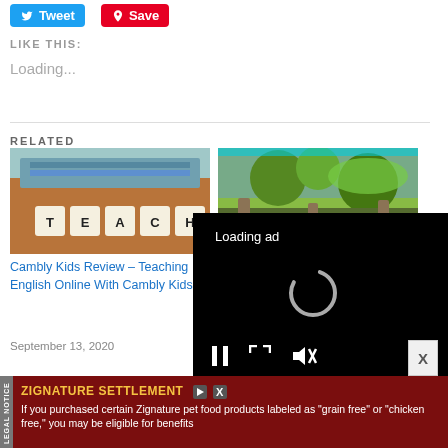[Figure (screenshot): Tweet and Save social sharing buttons at the top of the page]
LIKE THIS:
Loading...
RELATED
[Figure (photo): Photo of letter tiles spelling TEACH on top of stacked books]
Cambly Kids Review – Teaching English Online With Cambly Kids!
September 13, 2020
[Figure (photo): Photo of green plants and nature scene]
February 7, 2021
[Figure (screenshot): Video ad overlay with Loading ad text and spinner, with playback controls (pause, expand, mute)]
[Figure (screenshot): Bottom banner advertisement for Zignature Settlement with legal notice tab]
ZIGNATURE SETTLEMENT  If you purchased certain Zignature pet food products labeled as "grain free" or "chicken free," you may be eligible for benefits